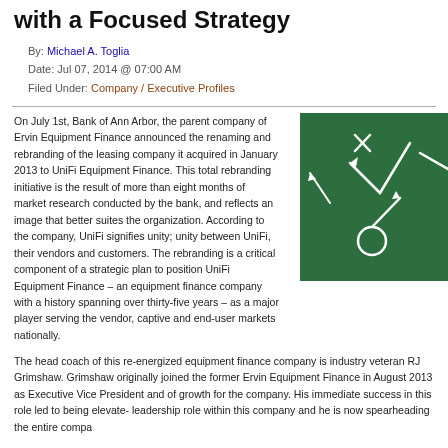with a Focused Strategy
By: Michael A. Toglia
Date: Jul 07, 2014 @ 07:00 AM
Filed Under: Company / Executive Profiles
On July 1st, Bank of Ann Arbor, the parent company of Ervin Equipment Finance announced the renaming and rebranding of the leasing company it acquired in January 2013 to UniFi Equipment Finance. This total rebranding initiative is the result of more than eight months of market research conducted by the bank, and reflects an image that better suites the organization. According to the company, UniFi signifies unity; unity between UniFi, their vendors and customers. The rebranding is a critical component of a strategic plan to position UniFi Equipment Finance – an equipment finance company with a history spanning over thirty-five years – as a major player serving the vendor, captive and end-user markets nationally.
[Figure (photo): Green chalkboard with white chalk play diagrams and arrows]
The head coach of this re-energized equipment finance company is industry veteran RJ Grimshaw. Grimshaw originally joined the former Ervin Equipment Finance in August 2013 as Executive Vice President and of growth for the company. His immediate success in this role led to being elevate- leadership role within this company and he is now spearheading the entire compa